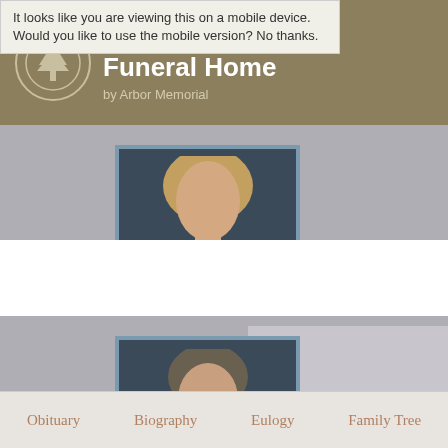It looks like you are viewing this on a mobile device. Would you like to use the mobile version? No thanks.
McEachnie Funeral Home by Arbor Memorial
[Figure (photo): Portrait photo of a woman with blonde hair against a dark blue background, partially cropped at top]
[Figure (photo): Portrait photo of a woman wearing a necklace against a dark background]
Obituary   Biography   Eulogy   Family Tree